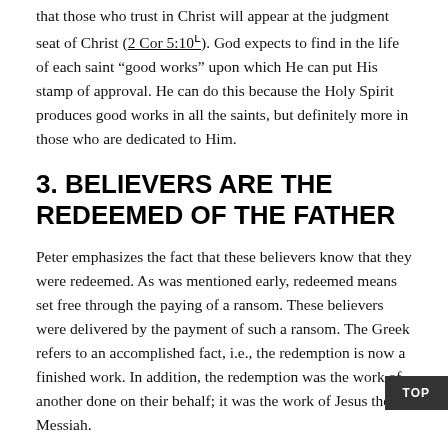that those who trust in Christ will appear at the judgment seat of Christ (2 Cor 5:10ᴸ). God expects to find in the life of each saint “good works” upon which He can put His stamp of approval. He can do this because the Holy Spirit produces good works in all the saints, but definitely more in those who are dedicated to Him.
3. BELIEVERS ARE THE REDEEMED OF THE FATHER
Peter emphasizes the fact that these believers know that they were redeemed. As was mentioned early, redeemed means set free through the paying of a ransom. These believers were delivered by the payment of such a ransom. The Greek refers to an accomplished fact, i.e., the redemption is now a finished work. In addition, the redemption was the work of another done on their behalf; it was the work of Jesus the Messiah.
Peter presents a negative and a positive aspect of this